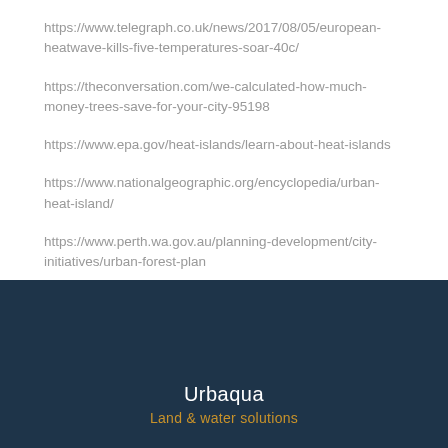https://www.telegraph.co.uk/news/2017/08/05/european-heatwave-kills-five-temperatures-soar-40c/
https://theconversation.com/we-calculated-how-much-money-trees-save-for-your-city-95198
https://www.epa.gov/heat-islands/learn-about-heat-islands
https://www.nationalgeographic.org/encyclopedia/urban-heat-island/
https://www.perth.wa.gov.au/planning-development/city-initiatives/urban-forest-plan
Urbaqua
Land & water solutions